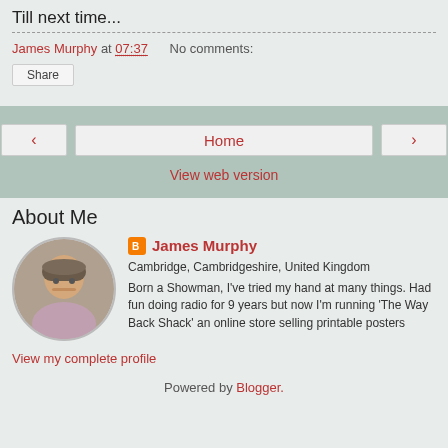Till next time...
James Murphy at 07:37   No comments:
Share
Home
View web version
About Me
James Murphy
Cambridge, Cambridgeshire, United Kingdom
Born a Showman, I've tried my hand at many things. Had fun doing radio for 9 years but now I'm running 'The Way Back Shack' an online store selling printable posters
View my complete profile
Powered by Blogger.